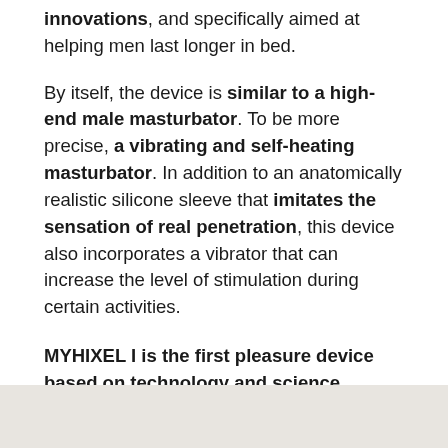innovations, and specifically aimed at helping men last longer in bed.
By itself, the device is similar to a high-end male masturbator. To be more precise, a vibrating and self-heating masturbator. In addition to an anatomically realistic silicone sleeve that imitates the sensation of real penetration, this device also incorporates a vibrator that can increase the level of stimulation during certain activities.
MYHIXEL I is the first pleasure device based on technology and science.
[Figure (photo): Partial image visible at the bottom of the page with a light beige/grey background]